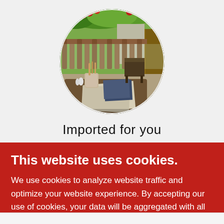[Figure (photo): Circular cropped photo of an outdoor café or garden scene: a wooden table with newspapers, a ceramic mug holding wooden spoons/utensils, small salt/pepper shakers, a wooden bench or chair visible behind, a wooden fence railing with red flowers and green foliage overhead, and a tree trunk on the right. Warm sunny outdoor setting.]
Imported for you
This website uses cookies.
We use cookies to analyze website traffic and optimize your website experience. By accepting our use of cookies, your data will be aggregated with all other user data.